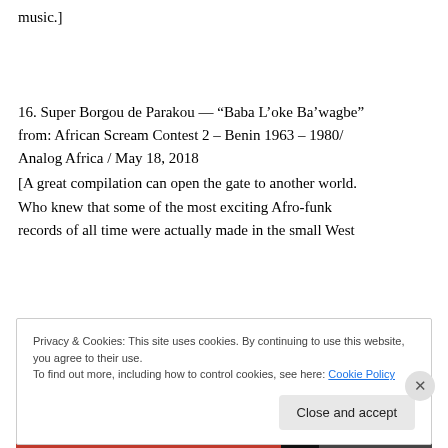music.]
16. Super Borgou de Parakou — “Baba L’oke Ba’wagbe” from: African Scream Contest 2 – Benin 1963 – 1980/ Analog Africa / May 18, 2018
[A great compilation can open the gate to another world. Who knew that some of the most exciting Afro-funk records of all time were actually made in the small West
Privacy & Cookies: This site uses cookies. By continuing to use this website, you agree to their use.
To find out more, including how to control cookies, see here: Cookie Policy
Close and accept